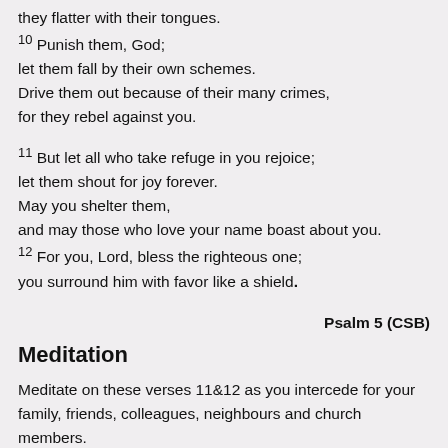they flatter with their tongues.
10 Punish them, God; let them fall by their own schemes. Drive them out because of their many crimes, for they rebel against you.
11 But let all who take refuge in you rejoice; let them shout for joy forever. May you shelter them, and may those who love your name boast about you. 12 For you, Lord, bless the righteous one; you surround him with favor like a shield.
Psalm 5 (CSB)
Meditation
Meditate on these verses 11&12 as you intercede for your family, friends, colleagues, neighbours and church members.